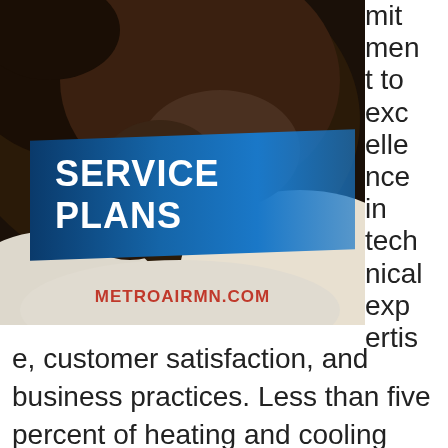[Figure (photo): Photo of a dog (dark brown/chocolate) resting on white bedding, with a blue banner overlay reading SERVICE PLANS and website URL METROAIRMN.COM]
mit
men
t to
exc
elle
nce
in
tech
nical
exp
ertis
e, customer satisfaction, and business practices. Less than five percent of heating and cooling professionals in the country receive this